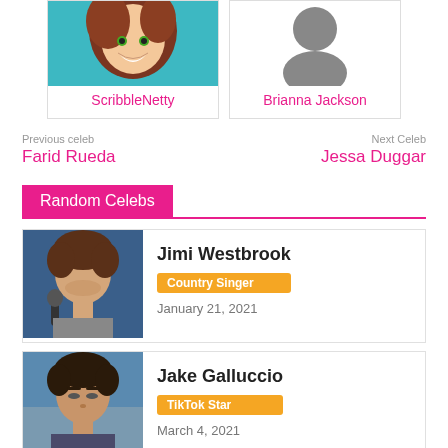[Figure (illustration): Profile card for ScribbleNetty — animated female character illustration cropped at top]
ScribbleNetty
[Figure (illustration): Profile card for Brianna Jackson — gray silhouette avatar]
Brianna Jackson
Previous celeb
Farid Rueda
Next Celeb
Jessa Duggar
Random Celebs
[Figure (photo): Photo of Jimi Westbrook, a man with brown hair near a microphone]
Jimi Westbrook
Country Singer
January 21, 2021
[Figure (photo): Photo of Jake Galluccio, a young man outdoors]
Jake Galluccio
TikTok Star
March 4, 2021